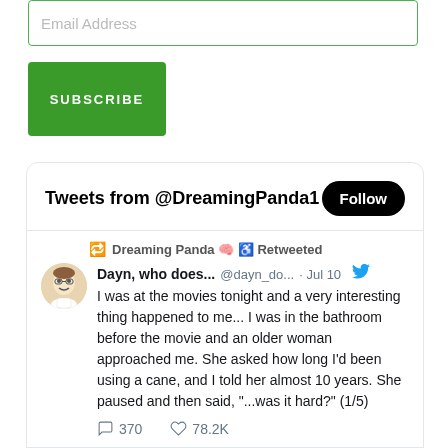Email Address
SUBSCRIBE
Tweets from @DreamingPanda1
Dreaming Panda 🧠 ♿ Retweeted
Dayn, who does... @dayn_do... · Jul 10
I was at the movies tonight and a very interesting thing happened to me... I was in the bathroom before the movie and an older woman approached me. She asked how long I'd been using a cane, and I told her almost 10 years. She paused and then said, "...was it hard?" (1/5)
370  78.2K
Dreaming Panda 🧠 ♿ Retweeted